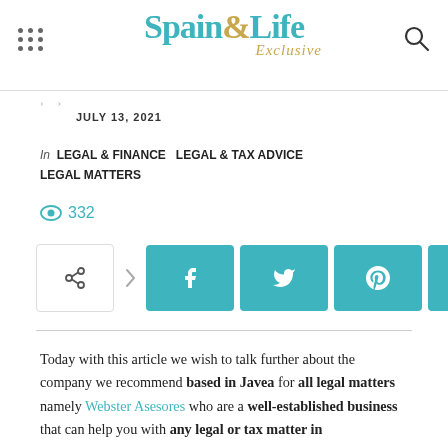Spain & Life Exclusive — navigation header with logo, menu and search
JULY 13, 2021
In LEGAL & FINANCE  LEGAL & TAX ADVICE  LEGAL MATTERS
332 views
[Figure (infographic): Social share buttons: share icon button, arrow, then teal buttons for Facebook, Twitter, Pinterest, WhatsApp]
Today with this article we wish to talk further about the company we recommend based in Javea for all legal matters namely Webster Asesores who are a well-established business that can help you with any legal or tax matter in